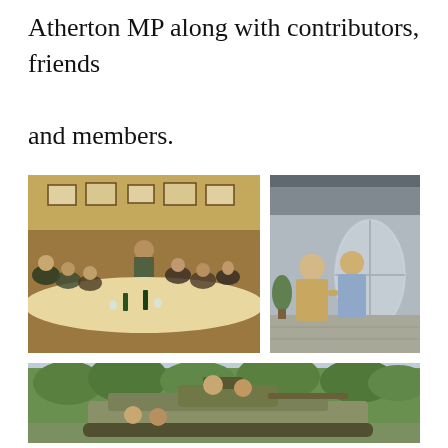Atherton MP along with contributors, friends and members.
[Figure (photo): Group of people seated around a long dining table in a wood-panelled room with framed pictures on the walls, wine bottles and glasses on the table, listening to a speaker.]
[Figure (photo): Two men standing outside in front of a building with a revolving glass door entrance. One wearing a beige jacket, the other in a light blue shirt.]
[Figure (photo): Two people posing in and around a military armoured vehicle/tank, with trees in the background.]